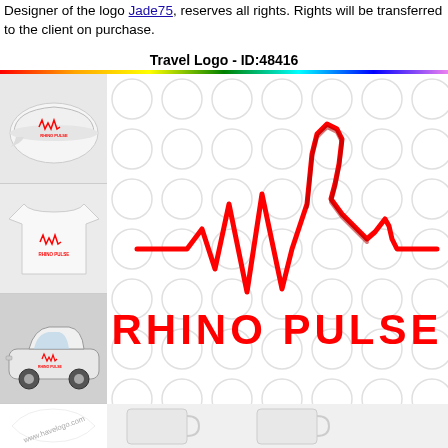Designer of the logo Jade75, reserves all rights. Rights will be transferred to the client on purchase.
Travel Logo - ID:48416
[Figure (logo): Rhino Pulse logo shown on merchandise mockups: cap, t-shirt, and car on the left column; main large Rhino Pulse logo (heartbeat/EKG line forming rhino horns) with text 'RHINO PULSE' on right; bottom shows watermark and mug mockup]
www.havelogo.com